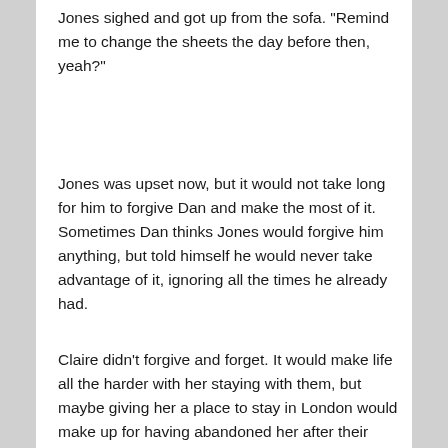Jones sighed and got up from the sofa. "Remind me to change the sheets the day before then, yeah?"
Jones was upset now, but it would not take long for him to forgive Dan and make the most of it. Sometimes Dan thinks Jones would forgive him anything, but told himself he would never take advantage of it, ignoring all the times he already had.
Claire didn't forgive and forget. It would make life all the harder with her staying with them, but maybe giving her a place to stay in London would make up for having abandoned her after their parents died. He couldn't drink red wine anymore. Every time he looked at an open bottle all he